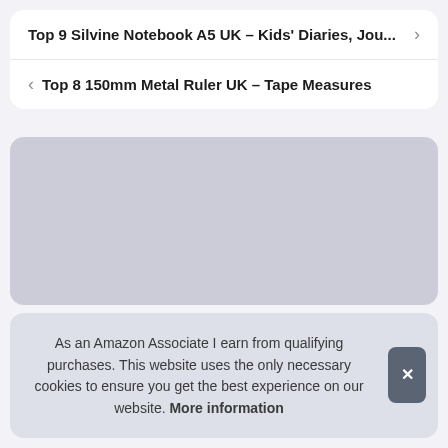Top 9 Silvine Notebook A5 UK – Kids' Diaries, Jou...
Top 8 150mm Metal Ruler UK – Tape Measures
[Figure (other): Gray advertisement placeholder box]
As an Amazon Associate I earn from qualifying purchases. This website uses the only necessary cookies to ensure you get the best experience on our website. More information